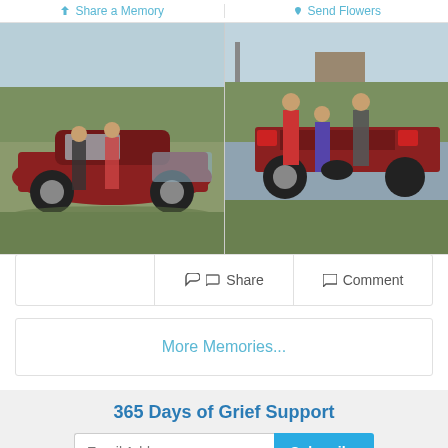Share a Memory
Send Flowers
[Figure (photo): Vintage color photo of two young men standing in front of a dark red/maroon classic car in a field, circa 1960s]
[Figure (photo): Vintage color photo of three young men standing behind the rear of a dark red/maroon classic car in a field, circa 1960s]
Share
Comment
More Memories...
365 Days of Grief Support
Email Address
Subscribe